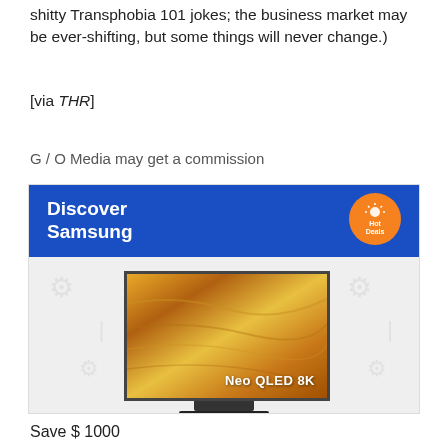shitty Transphobia 101 jokes; the business market may be ever-shifting, but some things will never change.)
[via THR]
G / O Media may get a commission
[Figure (advertisement): Samsung 'Discover Samsung' advertisement banner with blue background and orange 'Hot Deals' circular badge, showing a Samsung Neo QLED 8K TV with golden textured screen displaying 'Neo QLED 8K' text.]
Save $ 1000